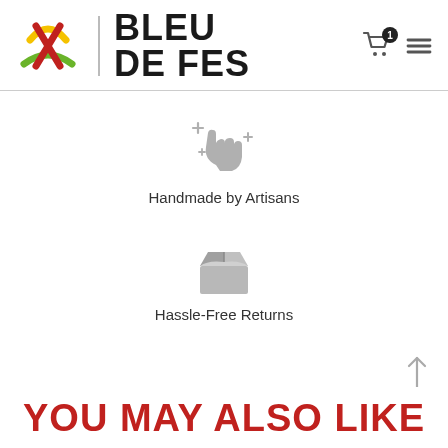BLEU DE FES
[Figure (illustration): Hand with sparkles icon representing handmade by artisans]
Handmade by Artisans
[Figure (illustration): Open box icon representing hassle-free returns]
Hassle-Free Returns
YOU MAY ALSO LIKE